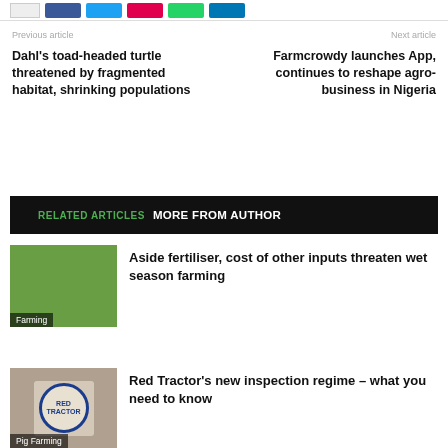[Figure (other): Social share buttons row: a grey box, then blue Facebook, cyan Twitter, red Pinterest, green WhatsApp, and dark blue LinkedIn buttons]
Previous article
Next article
Dahl's toad-headed turtle threatened by fragmented habitat, shrinking populations
Farmcrowdy launches App, continues to reshape agro-business in Nigeria
RELATED ARTICLES   MORE FROM AUTHOR
[Figure (photo): Photo of farmers working in a green field, with a label 'Farming' at the bottom left]
Aside fertiliser, cost of other inputs threaten wet season farming
[Figure (photo): Photo of a Red Tractor certification stamp/label on packaging, with a label 'Pig Farming' at the bottom left]
Red Tractor's new inspection regime – what you need to know